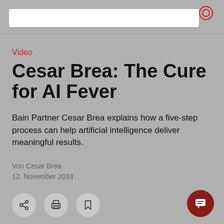Video
Cesar Brea: The Cure for AI Fever
Bain Partner Cesar Brea explains how a five-step process can help artificial intelligence deliver meaningful results.
Von Cesar Brea
12. November 2018